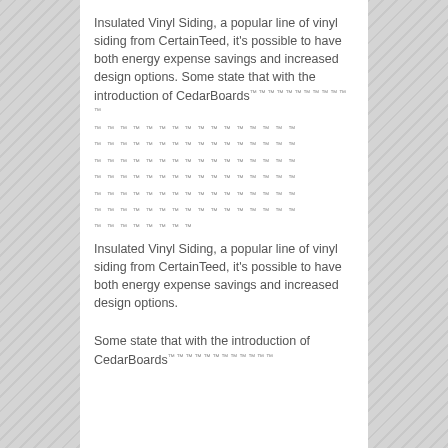Insulated Vinyl Siding, a popular line of vinyl siding from CertainTeed, it's possible to have both energy expense savings and increased design options. Some state that with the introduction of CedarBoards™ ™ ™ ™ ™ ™ ™ ™ ™ ™ ™ ™ ™ ™ ™ ™ ™ ™ ™ ™ ™ ™ ™ ™ ™ ™ ™ ™ ™ ™ ™ ™ ™ ™ ™ ™ ™ ™ ™ ™ ™ ™ ™ ™ ™ ™ ™ ™ ™ ™ ™ ™ ™ ™ ™ ™ ™ ™ ™ ™ ™ ™ ™ ™ ™ ™ ™ ™ ™ ™ ™ ™ ™ ™ ™ ™ ™ ™ ™ ™ ™ ™ ™ ™ ™ ™ ™ ™ ™ ™ ™ ™ ™ ™ ™ ™ ™ ™ ™ ™ ™ ™ ™ ™ ™ ™ ™ ™ ™ ™ ™ ™ ™ ™ ™ ™ ™ ™ ™ ™ ™ Insulated Vinyl Siding, a popular line of vinyl siding from CertainTeed, it's possible to have both energy expense savings and increased design options.
Some state that with the introduction of CedarBoards™ ™ ™ ™ ™ ™ ™ ™ ™ ™ ™ ™